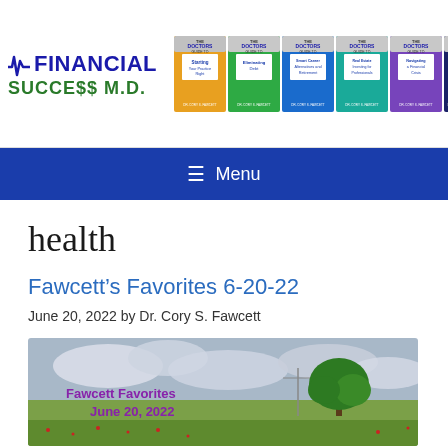[Figure (logo): Financial Success M.D. logo with heartbeat line icon and green text]
[Figure (photo): Six book covers of The Doctors Guide series by Dr. Cory S. Fawcett]
≡ Menu
health
Fawcett's Favorites 6-20-22
June 20, 2022 by Dr. Cory S. Fawcett
[Figure (photo): Fawcett Favorites June 20, 2022 feature image showing a lone green tree in a field with cloudy sky and text overlay reading 'Fawcett Favorites June 20, 2022']